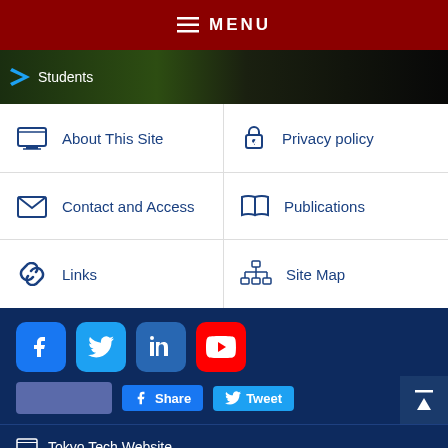≡ MENU
Students
About This Site
Privacy policy
Contact and Access
Publications
Links
Site Map
[Figure (screenshot): Social media icon buttons: Facebook, Twitter, LinkedIn, YouTube; Share and Tweet buttons]
Tokyo Tech Website
Current Students